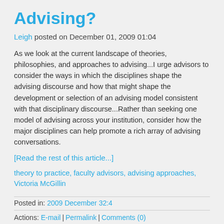Advising?
Leigh posted on December 01, 2009 01:04
As we look at the current landscape of theories, philosophies, and approaches to advising...I urge advisors to consider the ways in which the disciplines shape the advising discourse and how that might shape the development or selection of an advising model consistent with that disciplinary discourse...Rather than seeking one model of advising across your institution, consider how the major disciplines can help promote a rich array of advising conversations.
[Read the rest of this article...]
theory to practice, faculty advisors, advising approaches, Victoria McGillin
Posted in: 2009 December 32:4
Actions: E-mail | Permalink | Comments (0)